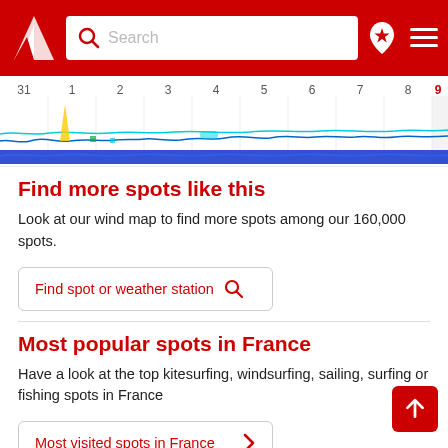Search
[Figure (continuous-plot): Wind forecast chart showing dates 31 through 9, with colored wave/wind lines in blue, cyan, yellow and green across the timeline]
Find more spots like this
Look at our wind map to find more spots among our 160,000 spots.
Find spot or weather station
Most popular spots in France
Have a look at the top kitesurfing, windsurfing, sailing, surfing or fishing spots in France
Most visited spots in France